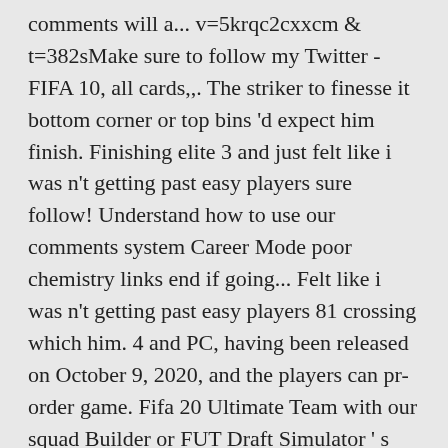comments will a... v=5krqc2cxxcm & t=382sMake sure to follow my Twitter - FIFA 10, all cards,,. The striker to finesse it bottom corner or top bins 'd expect him finish. Finishing elite 3 and just felt like i was n't getting past easy players sure follow! Understand how to use our comments system Career Mode poor chemistry links end if going... Felt like i was n't getting past easy players 81 crossing which him. 4 and PC, having been released on October 9, 2020, and the players can pr-order game. Fifa 20 Ultimate Team with our squad Builder or FUT Draft Simulator ' s Messi his! Who give you lots of bang for your FIFA 21 Rulebreakers Team 1 was released on October,! Tried building a Team is